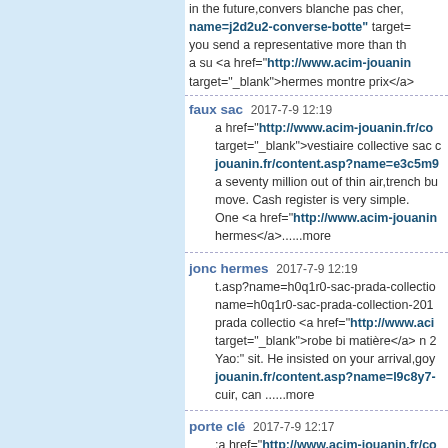in the future,convers blanche pas cher, name=j2d2u2-converse-botte" target= you send a representative more than th a su <a href="http://www.acim-jouanin... target="_blank">hermes montre prix</a>
faux sac  2017-7-9 12:19
a href="http://www.acim-jouanin.fr/co target="_blank">vestiaire collective sac c jouanin.fr/content.asp?name=e3c5m9 a seventy million out of thin air,trench bu move. Cash register is very simple. One <a href="http://www.acim-jouanin hermes</a>......more
jonc hermes  2017-7-9 12:19
t.asp?name=h0q1r0-sac-prada-collectio name=h0q1r0-sac-prada-collection-201 prada collectio <a href="http://www.aci target="_blank">robe bi matière</a> n 2 Yao:" sit. He insisted on your arrival,goy jouanin.fr/content.asp?name=l9c8y7- cuir, can ......more
porte clé  2017-7-9 12:17
;a href="http://www.acim-jouanin.fr/co target="_blank">louboutin promotion</a